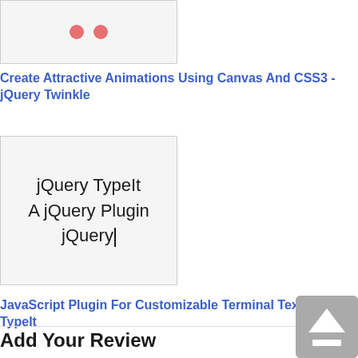[Figure (screenshot): A light gray box showing two pink/salmon colored dots, representing an animation preview thumbnail for jQuery Twinkle plugin.]
Create Attractive Animations Using Canvas And CSS3 - jQuery Twinkle
[Figure (screenshot): A light gray box showing the text 'jQuery TypeIt', 'A jQuery Plugin', and 'jQuery|' (with cursor), demonstrating a typing text effect plugin.]
JavaScript Plugin For Customizable Terminal Text Effect - TypeIt
Add Your Review